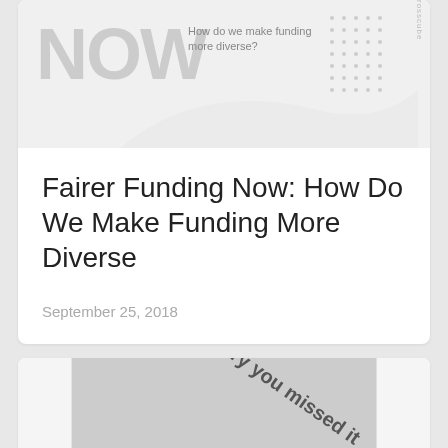[Figure (illustration): Top portion of a card showing 'NOW' text in large gray letters with subtitle 'How do we make funding more diverse?' and a dot pattern on the right, with a swoosh/wave shape]
Fairer Funding Now: How Do We Make Funding More Diverse
September 25, 2018
[Figure (illustration): Bottom card showing a gray image area with 'sorry you missed it' text rotated diagonally, and 'Open CELL' text at the bottom]